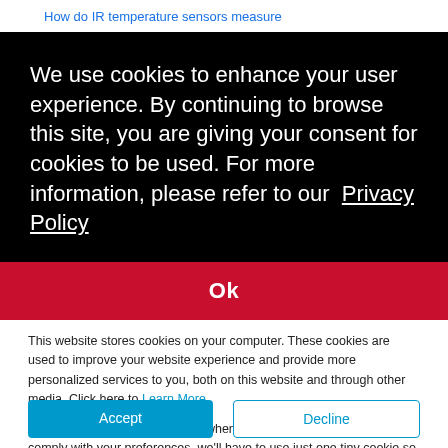How do IR temperature sensors measure
We use cookies to enhance your user experience. By continuing to browse this site, you are giving your consent for cookies to be used. For more information, please refer to our  Privacy Policy
Ok
This website stores cookies on your computer. These cookies are used to improve your website experience and provide more personalized services to you, both on this website and through other media. Click here to Learn More.
We won't track your information when you visit our site. But in order to comply with your preferences, we'll have to use just one tiny cookie so that you're not asked to make this choice again.
Accept
Decline